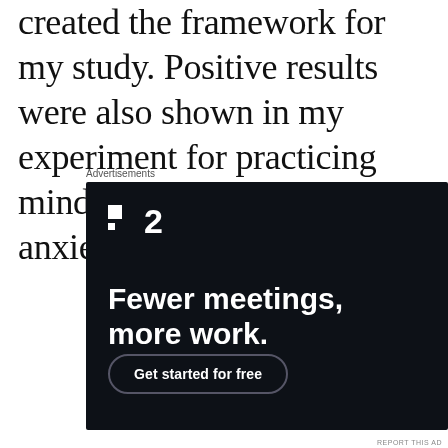created the framework for my study. Positive results were also shown in my experiment for practicing mindfulness to manage anxiety.
Advertisements
[Figure (screenshot): Advertisement for a productivity/meeting tool showing logo '■2', headline 'Fewer meetings, more work.' and a 'Get started for free' button on a dark background.]
REPORT THIS AD